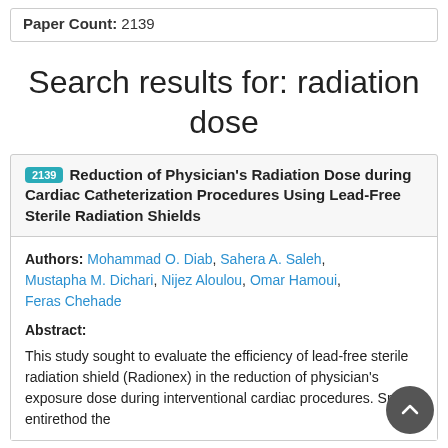Paper Count: 2139
Search results for: radiation dose
2139 Reduction of Physician's Radiation Dose during Cardiac Catheterization Procedures Using Lead-Free Sterile Radiation Shields
Authors: Mohammad O. Diab, Sahera A. Saleh, Mustapha M. Dichari, Nijez Aloulou, Omar Hamoui, Feras Chehade
Abstract:
This study sought to evaluate the efficiency of lead-free sterile radiation shield (Radionex) in the reduction of physician's exposure dose during interventional cardiac procedures. Smallentirethat the...